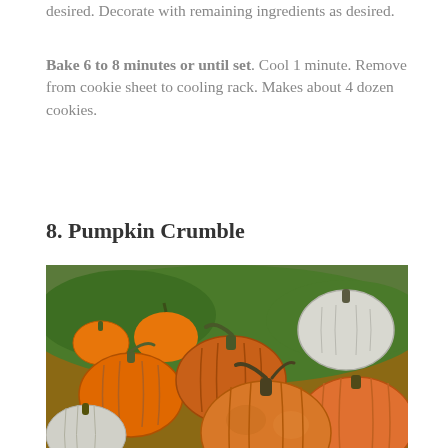desired.  Decorate with remaining ingredients as desired.
Bake 6 to 8 minutes or until set.  Cool 1 minute. Remove from cookie sheet to cooling rack.  Makes about 4 dozen cookies.
8. Pumpkin Crumble
[Figure (photo): A large grouping of various pumpkins including orange and white pumpkins, displayed in a sunny outdoor setting at a pumpkin patch.]